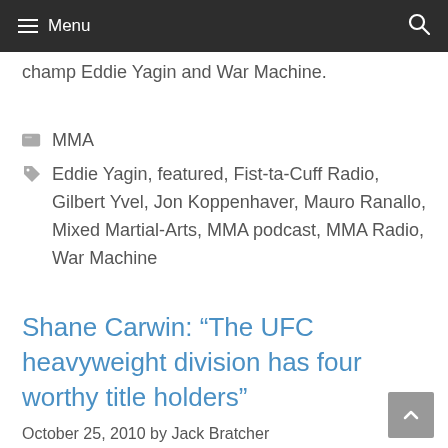Menu
champ Eddie Yagin and War Machine.
MMA
Eddie Yagin, featured, Fist-ta-Cuff Radio, Gilbert Yvel, Jon Koppenhaver, Mauro Ranallo, Mixed Martial-Arts, MMA podcast, MMA Radio, War Machine
Shane Carwin: “The UFC heavyweight division has four worthy title holders”
October 25, 2010 by Jack Bratcher